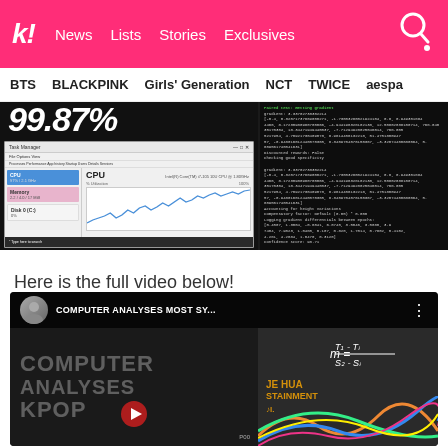k! News  Lists  Stories  Exclusives
BTS  BLACKPINK  Girls' Generation  NCT  TWICE  aespa
[Figure (screenshot): Split screenshot: left side shows Windows Task Manager with CPU usage and performance graph; right side shows a terminal/command prompt with white text on dark background showing gradient/ML output]
Here is the full video below!
[Figure (screenshot): YouTube video embed showing 'COMPUTER ANALYSES MOST SY...' channel with a video thumbnail featuring large text 'COMPUTER ANALYSES KPOP' on left and a math formula with 'JE HUA STAINMENT' branding on right]